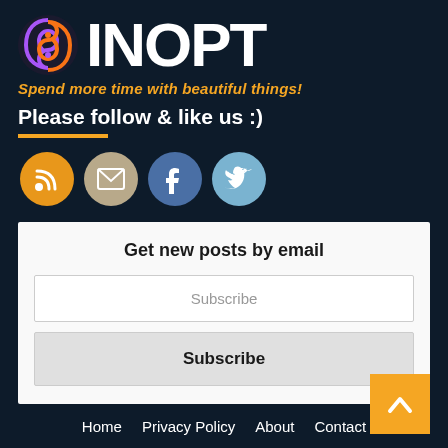SINOPT
Spend more time with beautiful things!
Please follow & like us :)
[Figure (logo): Social media icons: RSS feed (orange), Email (beige), Facebook (blue), Twitter (light blue)]
Get new posts by email
Subscribe
Subscribe
Home   Privacy Policy   About   Contact